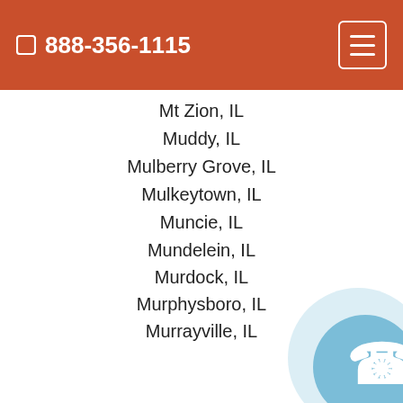📞 888-356-1115
Mt Zion, IL
Muddy, IL
Mulberry Grove, IL
Mulkeytown, IL
Muncie, IL
Mundelein, IL
Murdock, IL
Murphysboro, IL
Murrayville, IL
Nachusa, IL
Naperville, IL
Nashville, IL
Nason, IL
National Stock Yards, IL
Nauvoo, IL
Nebo, IL
Nelson, IL
Neoga, IL